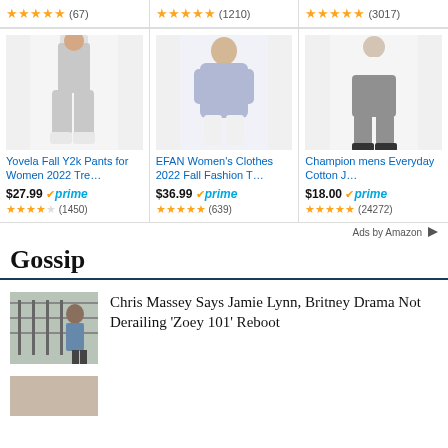[Figure (screenshot): Top row of three Amazon product listings showing star ratings with review counts: 4.5 stars (67), 4.5 stars (1210), 4.5 stars (3017)]
[Figure (screenshot): Three Amazon product cards with images, titles, prices, Prime badges, and star ratings. Product 1: Yovela Fall Y2k Pants for Women 2022 Tre... $27.99 Prime, 3.5 stars (1450). Product 2: EFAN Women's Clothes 2022 Fall Fashion T... $36.99 Prime, 4.5 stars (639). Product 3: Champion mens Everyday Cotton J... $18.00 Prime, 4.5 stars (24272).]
Ads by Amazon
Gossip
Chris Massey Says Jamie Lynn, Britney Drama Not Derailing ‘Zoey 101’ Reboot